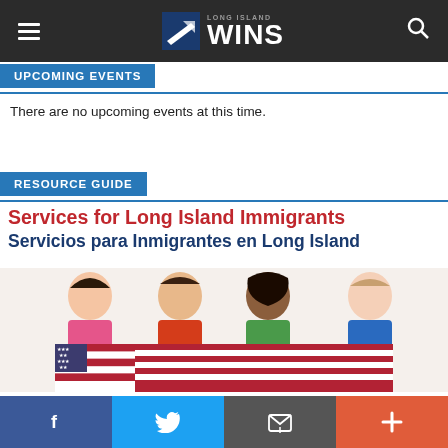[Figure (screenshot): Long Island WINS website navigation header with hamburger menu, Long Island WINS logo, and search icon on dark background]
UPCOMING EVENTS
There are no upcoming events at this time.
RESOURCE GUIDE
Services for Long Island Immigrants
Servicios para Inmigrantes en Long Island
[Figure (photo): Four diverse children smiling and holding an American flag]
[Figure (infographic): Social media bar with Facebook, Twitter, email, and plus buttons]